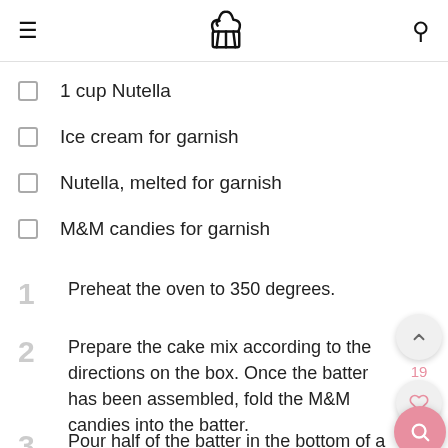≡ [cupcake logo] 🔍
1 cup Nutella
Ice cream for garnish
Nutella, melted for garnish
M&M candies for garnish
1  Preheat the oven to 350 degrees.
2  Prepare the cake mix according to the directions on the box. Once the batter has been assembled, fold the M&M candies into the batter.
3  Pour half of the batter in the bottom of a